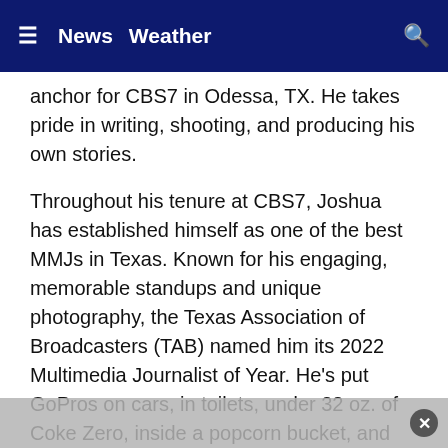≡  News  Weather  🔍
anchor for CBS7 in Odessa, TX. He takes pride in writing, shooting, and producing his own stories.
Throughout his tenure at CBS7, Joshua has established himself as one of the best MMJs in Texas. Known for his engaging, memorable standups and unique photography, the Texas Association of Broadcasters (TAB) named him its 2022 Multimedia Journalist of Year. He's put GoPros on cars, in toilets, under 32 oz. of Coke Zero, inside a popcorn bucket, and even latched them onto cornhole bags (still have yet to break one!). If there is water or mud, Joshua will find a way into it. If you see him in the field wearing dress clothes and holding a stick mic, something has gone